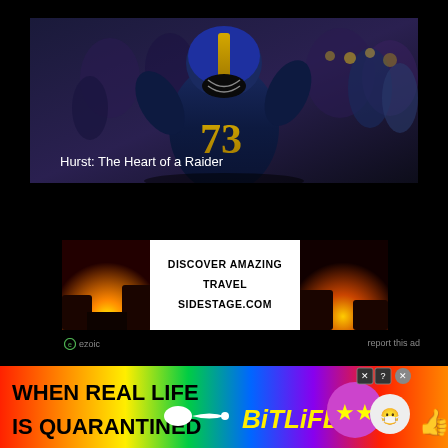[Figure (photo): Football player wearing Michigan #73 jersey and blue/gold helmet, back facing camera, with crowd in background. Title overlay reads 'Hurst: The Heart of a Raider']
Hurst: The Heart of a Raider
[Figure (infographic): Advertisement banner: sunset/landscape photos on left and right sides with white center panel. Text reads 'DISCOVER AMAZING TRAVEL SIDESTAGE.COM'. Ezoic attribution at bottom left, 'report this ad' at bottom right.]
[Figure (infographic): BitLife game advertisement with rainbow gradient background. Text: 'WHEN REAL LIFE IS QUARANTINED' with BitLife logo and emoji characters. Close button at top right.]